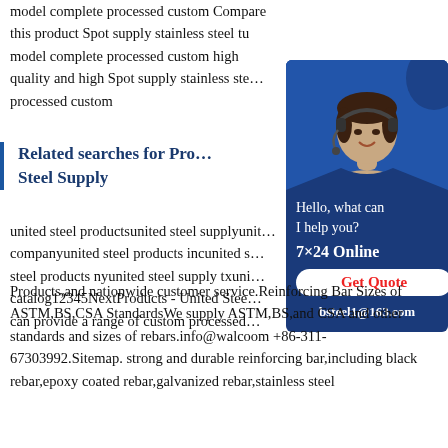model complete processed custom Compare this product Spot supply stainless steel tu model complete processed custom high quality and high Spot supply stainless ste… processed custom
Related searches for Pro… Steel Supply
[Figure (photo): Customer service representative wearing a headset, smiling, with blue background. Chat widget with 'Hello, what can I help you?', '7×24 Online', 'Get Quote' button, and 'bsteel1@163.com']
united steel productsunited steel supplyunited…companyunited steel products incunited s…steel products nyunited steel supply txun…catalog12345NextProducts - United Stee…can provide a range of custom processed…Products,and nationwide customer service.Reinforcing Bar Sizes of ASTM,BS,CSA StandardsWe supply ASTM,BS,and CSA and other standards and sizes of rebars.info@walcoom +86-311-67303992.Sitemap. strong and durable reinforcing bar,including black rebar,epoxy coated rebar,galvanized rebar,stainless steel